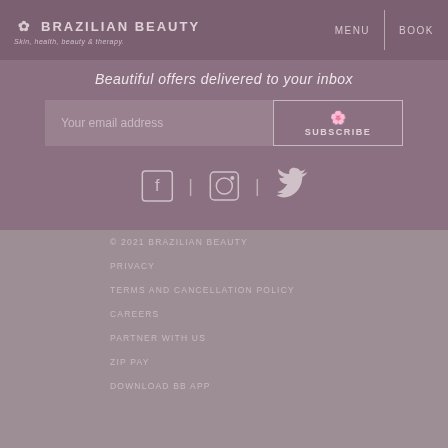BRAZILIAN BEAUTY — Skin, health, beauty & therapy. | MENU | BOOK
Beautiful offers delivered to your inbox
[Figure (infographic): Email subscribe form with input field and SUBSCRIBE button, plus social media icons for Facebook, Instagram, and Twitter]
© 2021 BRAZILIAN BEAUTY | PRIVACY | TERMS AND CANCELLATION POLICY | CAREERS | PARTNER WITH US | ZIP PAY | DOWNLOAD BB APP